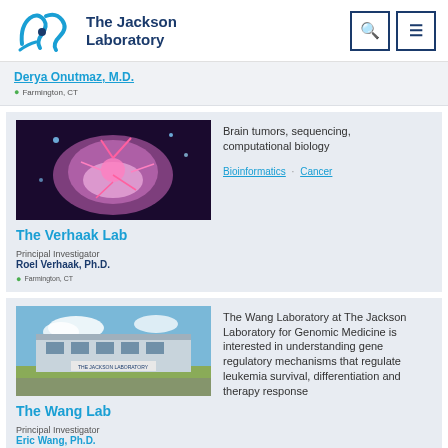[Figure (logo): The Jackson Laboratory logo with stylized JAX icon and text]
Derya Onutmaz, M.D.
Farmington, CT
[Figure (photo): Brain tumor or neuron microscopy image with pink/purple hues on dark background]
The Verhaak Lab
Principal Investigator
Roel Verhaak, Ph.D.
Farmington, CT
Brain tumors, sequencing, computational biology
Bioinformatics · Cancer
[Figure (photo): The Jackson Laboratory building exterior with sign and parking lot]
The Wang Lab
Principal Investigator
Eric Wang, Ph.D.
The Wang Laboratory at The Jackson Laboratory for Genomic Medicine is interested in understanding gene regulatory mechanisms that regulate leukemia survival, differentiation and therapy response